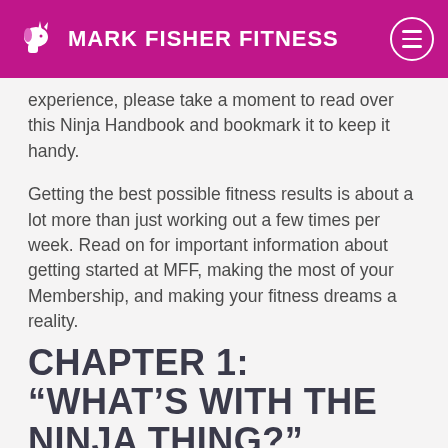MARK FISHER FITNESS
experience, please take a moment to read over this Ninja Handbook and bookmark it to keep it handy.
Getting the best possible fitness results is about a lot more than just working out a few times per week. Read on for important information about getting started at MFF, making the most of your Membership, and making your fitness dreams a reality.
CHAPTER 1: “WHAT’S WITH THE NINJA THING?”
MFF isn’t like other gyms. We lead with our values and think ridiculousness is a key ingredient in your fitness journey. Learn more about our quirky approach to fitness here.